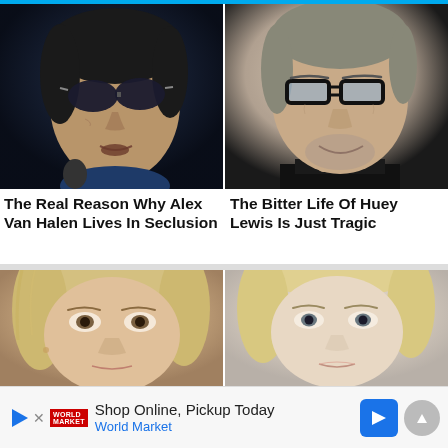[Figure (photo): Close-up of Alex Van Halen wearing dark sunglasses, performing, dark moody background]
[Figure (photo): Close-up of Huey Lewis wearing black-rimmed glasses, smiling, dark turtleneck]
The Real Reason Why Alex Van Halen Lives In Seclusion
The Bitter Life Of Huey Lewis Is Just Tragic
[Figure (photo): Close-up of a blonde woman's face, warm skin tones]
[Figure (photo): Close-up of a blonde woman's face, lighter skin tones, light background]
Shop Online, Pickup Today
World Market